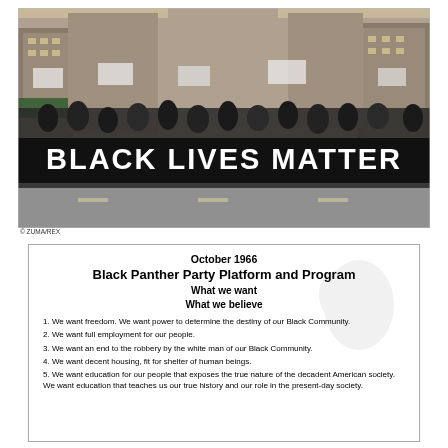[Figure (photo): Black and white/color photo of a large crowd marching in a city street holding a large black banner reading 'BLACK LIVES MATTER'. Buildings visible in background, protesters holding signs.]
© ZUMA/REX
October 1966
Black Panther Party Platform and Program
What we want
What we believe
1. We want freedom. We want power to determine the destiny of our Black Community.
2. We want full employment for our people.
3. We want an end to the robbery by the white man of our Black Community.
4. We want decent housing, fit for shelter of human beings.
5. We want education for our people that exposes the true nature of the decadent American society. We want education that teaches us our true history and our role in the present-day society.